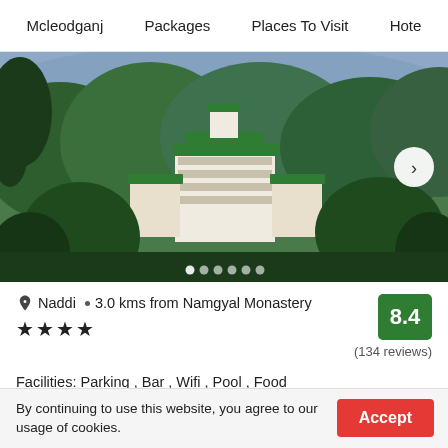Mcleodganj   Packages   Places To Visit   Hote
[Figure (photo): A hillside hotel building with green rooftops nestled among dense green trees, with a blue-grey sky in the background. A white circular next-arrow button is visible on the right. Six dot indicators at the bottom indicate an image carousel.]
Naddi · 3.0 kms from Namgyal Monastery ★★★★ 8.4 (134 reviews)
Facilities: Parking , Bar , Wifi , Pool , Food
By continuing to use this website, you agree to our usage of cookies.